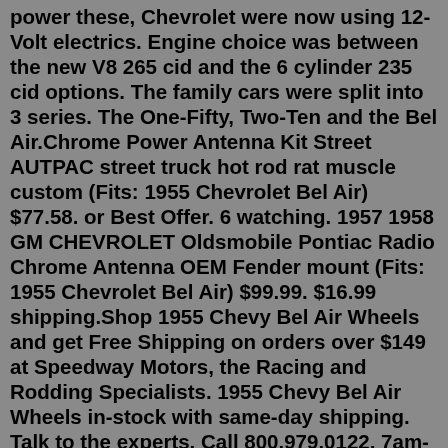power these, Chevrolet were now using 12-Volt electrics. Engine choice was between the new V8 265 cid and the 6 cylinder 235 cid options. The family cars were split into 3 series. The One-Fifty, Two-Ten and the Bel Air.Chrome Power Antenna Kit Street AUTPAC street truck hot rod rat muscle custom (Fits: 1955 Chevrolet Bel Air) $77.58. or Best Offer. 6 watching. 1957 1958 GM CHEVROLET Oldsmobile Pontiac Radio Chrome Antenna OEM Fender mount (Fits: 1955 Chevrolet Bel Air) $99.99. $16.99 shipping.Shop 1955 Chevy Bel Air Wheels and get Free Shipping on orders over $149 at Speedway Motors, the Racing and Rodding Specialists. 1955 Chevy Bel Air Wheels in-stock with same-day shipping. Talk to the experts. Call 800.979.0122, 7am-10pm, everyday. GIFT CARDS. DEALS. TRACK ORDER. HELP CENTER. Shop. Parts. Toolbox. Articles. My Garage. Add a Vehicle.Shop 1955 Chevrolet Bel Air vehicles for sale at Cars.com. Research, compare, and save listings, or contact sellers directly from 28 1955 Bel Air models